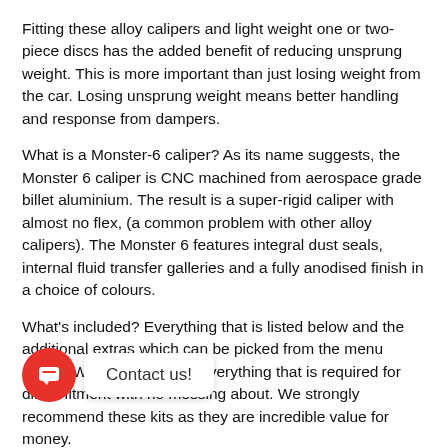Fitting these alloy calipers and light weight one or two-piece discs has the added benefit of reducing unsprung weight. This is more important than just losing weight from the car. Losing unsprung weight means better handling and response from dampers.
What is a Monster-6 caliper? As its name suggests, the Monster 6 caliper is CNC machined from aerospace grade billet aluminium. The result is a super-rigid caliper with almost no flex, (a common problem with other alloy calipers). The Monster 6 features integral dust seals, internal fluid transfer galleries and a fully anodised finish in a choice of colours.
What's included? Everything that is listed below and the additional extras which can be picked from the menu above. We like to provide everything that is required for direct fitment with no messing about. We strongly recommend these kits as they are incredible value for money.
The Monster 6 Conversion includes:
2 x Monster 6 calipers
2 x Curved Vane Rotors